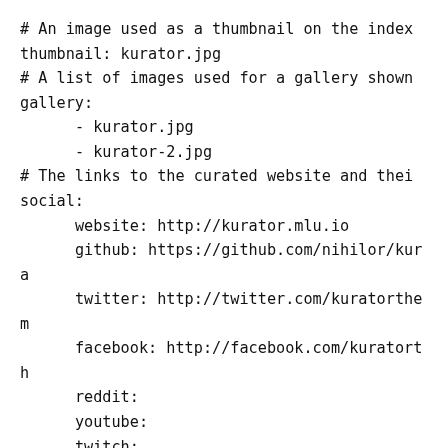# An image used as a thumbnail on the index
thumbnail: kurator.jpg
# A list of images used for a gallery shown
gallery:
    - kurator.jpg
    - kurator-2.jpg
# The links to the curated website and thei
social:
    website: http://kurator.mlu.io
    github: https://github.com/nihilor/kura
    twitter: http://twitter.com/kuratorthem
    facebook: http://facebook.com/kuratorth
    reddit:
    youtube:
    twitch:
---
# A brief description of the curated websit